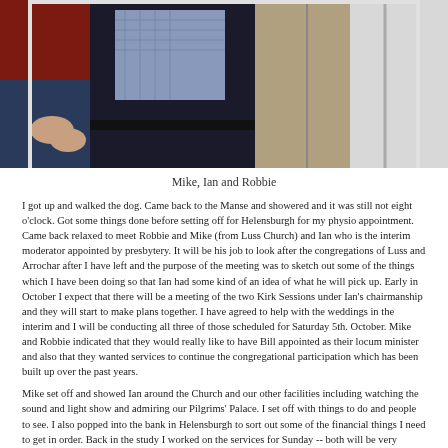[Figure (photo): Three men standing together, one in red sweater on left, one in dark jacket in center, one in light/grey zip-up jacket on right. Photo is cropped showing torsos and hands.]
Mike, Ian and Robbie
I got up and walked the dog. Came back to the Manse and showered and it was still not eight o'clock. Got some things done before setting off for Helensburgh for my physio appointment. Came back relaxed to meet Robbie and Mike (from Luss Church) and Ian who is the interim moderator appointed by presbytery. It will be his job to look after the congregations of Luss and Arrochar after I have left and the purpose of the meeting was to sketch out some of the things which I have been doing so that Ian had some kind of an idea of what he will pick up. Early in October I expect that there will be a meeting of the two Kirk Sessions under Ian's chairmanship and they will start to make plans together. I have agreed to help with the weddings in the interim and I will be conducting all three of those scheduled for Saturday 5th. October. Mike and Robbie indicated that they would really like to have Bill appointed as their locum minister and also that they wanted services to continue the congregational participation which has been built up over the past years.
Mike set off and showed Ian around the Church and our other facilities including watching the sound and light show and admiring our Pilgrims' Palace. I set off with things to do and people to see. I also popped into the bank in Helensburgh to sort out some of the financial things I need to get in order. Back in the study I worked on the services for Sunday -- both will be very different: at Luss we are ordaining new elders and will celebrate the Sacrament of Holy Communion. I would have liked to have had communion at Arrochar but as the Session Clerk is away this would have been difficult. But both services will be special for me. Then, after the Luss service, there